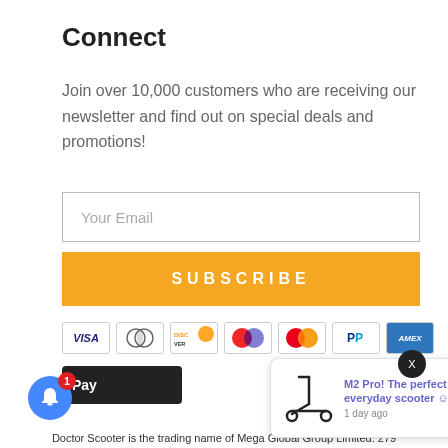Connect
Join over 10,000 customers who are receiving our newsletter and find out on special deals and promotions!
[Figure (screenshot): Email input field with placeholder 'Your Email']
[Figure (screenshot): Orange Subscribe button]
[Figure (screenshot): Payment method icons: VISA, Diners Club, Discover, Maestro, Mastercard, PayPal, AMEX]
[Figure (screenshot): Pay Now and another payment block partially visible, with a notification popup showing 'M2 Pro! The perfect everyday scooter' from 1 day ago, and a notification bell with badge 1]
Doctor Scooter is the trading name of Mega Global Group Limited. 279